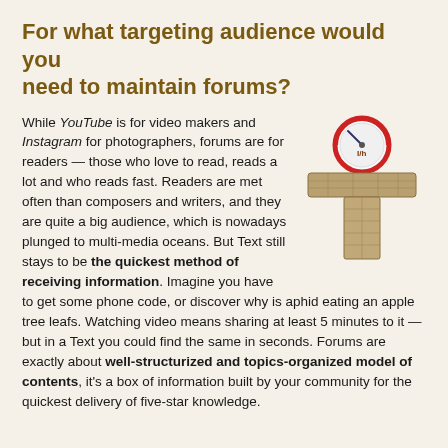For what targeting audience would you need to maintain forums?
[Figure (illustration): Decorative letter T with a speedometer gauge on top and stone/brick texture, indicating reading speed or text-based information]
While YouTube is for video makers and Instagram for photographers, forums are for readers — those who love to read, reads a lot and who reads fast. Readers are met often than composers and writers, and they are quite a big audience, which is nowadays plunged to multi-media oceans. But Text still stays to be the quickest method of receiving information. Imagine you have to get some phone code, or discover why is aphid eating an apple tree leafs. Watching video means sharing at least 5 minutes to it — but in a Text you could find the same in seconds. Forums are exactly about well-structurized and topics-organized model of contents, it's a box of information built by your community for the quickest delivery of five-star knowledge.